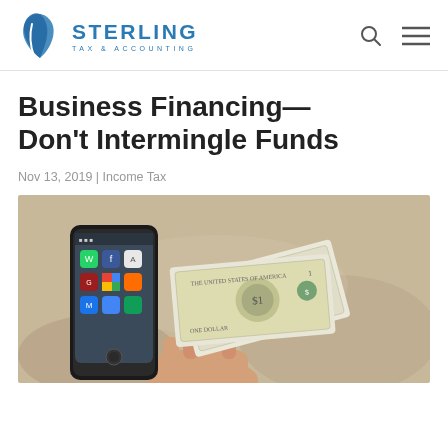[Figure (logo): Sterling Tax & Accounting logo with stylized blue pen/leaf icon and company name]
Business Financing—Don't Intermingle Funds
Nov 13, 2019 | Income Tax
[Figure (photo): A hand holding US dollar bills next to a smartphone displaying various app icons including WhatsApp, Facebook, Gmail, and Google Maps]